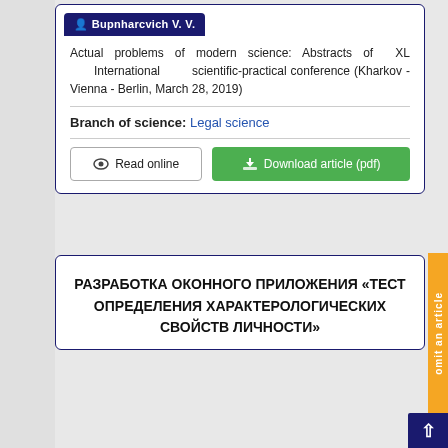Bupnharcvich V. V.
Actual problems of modern science: Abstracts of XL International scientific-practical conference (Kharkov - Vienna - Berlin, March 28, 2019)
Branch of science: Legal science
Read online
Download article (pdf)
РАЗРАБОТКА ОКОННОГО ПРИЛОЖЕНИЯ «ТЕСТ ОПРЕДЕЛЕНИЯ ХАРАКТЕРОЛОГИЧЕСКИХ СВОЙСТВ ЛИЧНОСТИ»